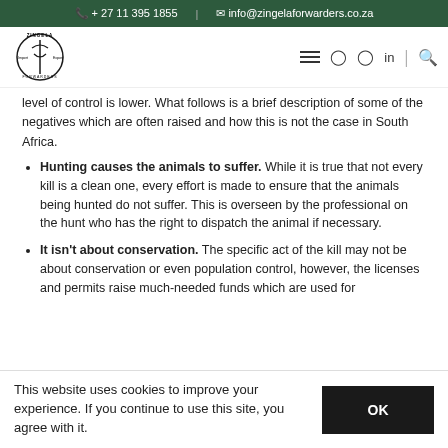+ 27 11 395 1855 | info@zingelaforwarders.co.za
[Figure (logo): Zingela Import & Export Forwarders logo with stylized animal figure]
level of control is lower. What follows is a brief description of some of the negatives which are often raised and how this is not the case in South Africa.
Hunting causes the animals to suffer. While it is true that not every kill is a clean one, every effort is made to ensure that the animals being hunted do not suffer. This is overseen by the professional on the hunt who has the right to dispatch the animal if necessary.
It isn't about conservation. The specific act of the kill may not be about conservation or even population control, however, the licenses and permits raise much-needed funds which are used for
This website uses cookies to improve your experience. If you continue to use this site, you agree with it.